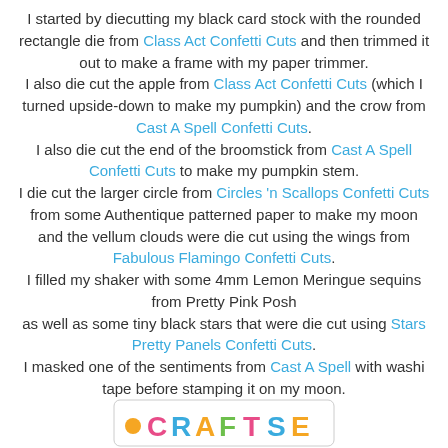I started by diecutting my black card stock with the rounded rectangle die from Class Act Confetti Cuts and then trimmed it out to make a frame with my paper trimmer. I also die cut the apple from Class Act Confetti Cuts (which I turned upside-down to make my pumpkin) and the crow from Cast A Spell Confetti Cuts. I also die cut the end of the broomstick from Cast A Spell Confetti Cuts to make my pumpkin stem. I die cut the larger circle from Circles 'n Scallops Confetti Cuts from some Authentique patterned paper to make my moon and the vellum clouds were die cut using the wings from Fabulous Flamingo Confetti Cuts. I filled my shaker with some 4mm Lemon Meringue sequins from Pretty Pink Posh as well as some tiny black stars that were die cut using Stars Pretty Panels Confetti Cuts. I masked one of the sentiments from Cast A Spell with washi tape before stamping it on my moon.
[Figure (logo): Partial logo at bottom center of page]